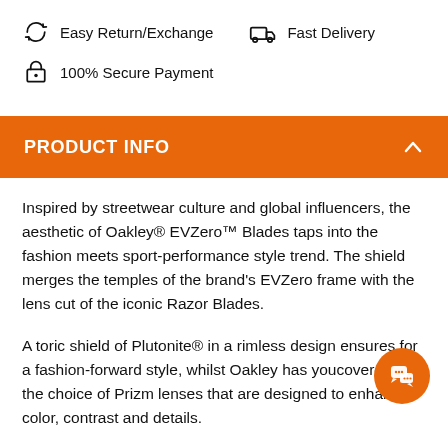Easy Return/Exchange
Fast Delivery
100% Secure Payment
PRODUCT INFO
Inspired by streetwear culture and global influencers, the aesthetic of Oakley® EVZero™ Blades taps into the fashion meets sport-performance style trend. The shield merges the temples of the brand's EVZero frame with the lens cut of the iconic Razor Blades.
A toric shield of Plutonite® in a rimless design ensures for a fashion-forward style, whilst Oakley has youcovered with the choice of Prizm lenses that are designed to enhance color, contrast and details.
The Evzero range is seriously lightweight achieved through their